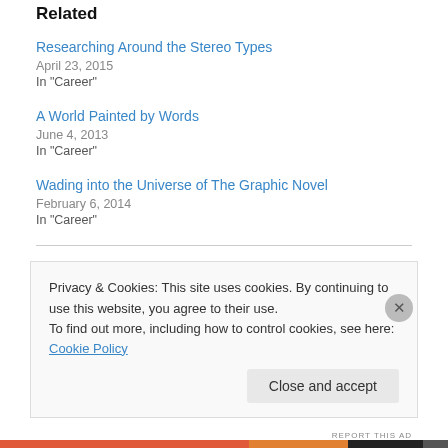Related
Researching Around the Stereo Types
April 23, 2015
In "Career"
A World Painted by Words
June 4, 2013
In "Career"
Wading into the Universe of The Graphic Novel
February 6, 2014
In "Career"
Privacy & Cookies: This site uses cookies. By continuing to use this website, you agree to their use.
To find out more, including how to control cookies, see here: Cookie Policy
Close and accept